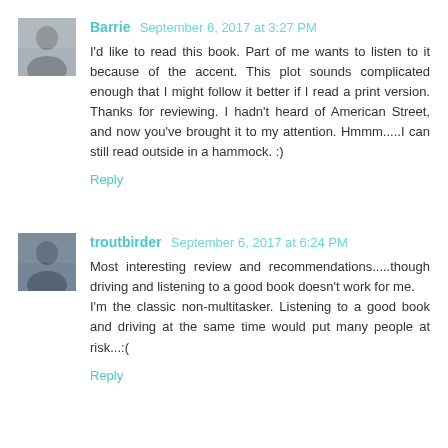[Figure (photo): Avatar photo of commenter Barrie]
Barrie September 6, 2017 at 3:27 PM
I'd like to read this book. Part of me wants to listen to it because of the accent. This plot sounds complicated enough that I might follow it better if I read a print version. Thanks for reviewing. I hadn't heard of American Street, and now you've brought it to my attention. Hmmm.....I can still read outside in a hammock. :)
Reply
[Figure (photo): Avatar photo of commenter troutbirder]
troutbirder September 6, 2017 at 6:24 PM
Most interesting review and recommendations.....though driving and listening to a good book doesn't work for me.
I'm the classic non-multitasker. Listening to a good book and driving at the same time would put many people at risk...:(
Reply